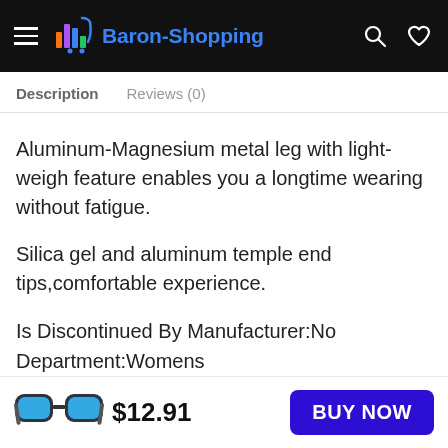Baron-Shopping
Description   Reviews (0)
Aluminum-Magnesium metal leg with light-weigh feature enables you a longtime wearing without fatigue.
Silica gel and aluminum temple end tips,comfortable experience.
Is Discontinued By Manufacturer:No
Department:Womens
Date First Available:October 24, 2016
$12.91
BUY NOW